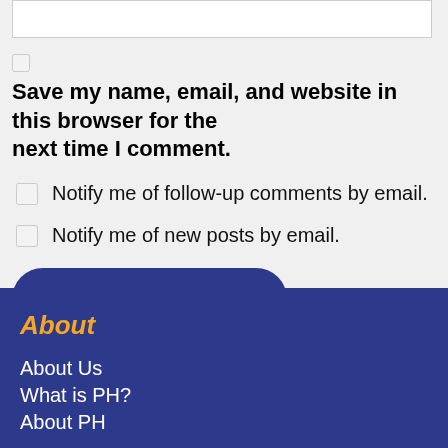[text input box]
Save my name, email, and website in this browser for the next time I comment.
Notify me of follow-up comments by email.
Notify me of new posts by email.
Post Comment
About
About Us
What is PH?
About PH